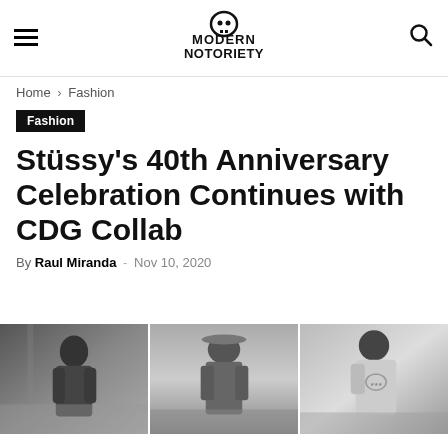Modern Notoriety — navigation header with hamburger menu, logo, and search icon
Home › Fashion
Fashion
Stüssy's 40th Anniversary Celebration Continues with CDG Collab
By Raul Miranda - Nov 10, 2020
[Figure (photo): Three grayscale fashion photos side by side showing models wearing Stüssy x CDG collaboration clothing]